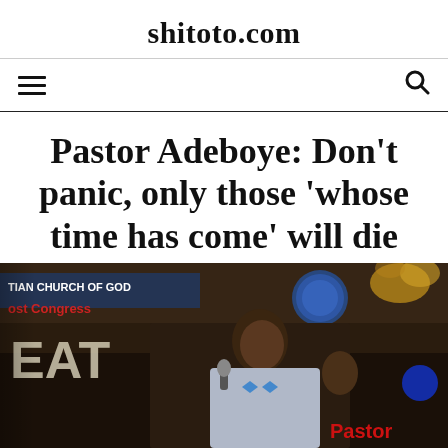shitoto.com
Pastor Adeboye: Don’t panic, only those ‘whose time has come’ will die
[Figure (photo): Photo of Pastor Adeboye speaking at a podium at the Redeemed Christian Church of God Pentecost Congress, wearing a suit with a bow tie, holding a microphone and raising his right hand.]